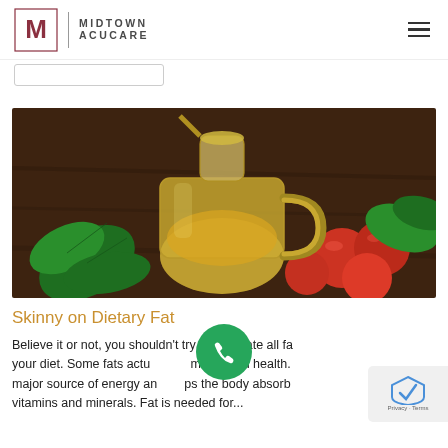MIDTOWN ACUCARE
[Figure (photo): A glass pitcher/carafe filled with golden olive oil, surrounded by fresh red tomatoes and green basil leaves on a dark wooden surface.]
Skinny on Dietary Fat
Believe it or not, you shouldn't try to eliminate all fat from your diet. Some fats actually promote good health. Fat is a major source of energy and helps the body absorb certain vitamins and minerals. Fat is needed for...